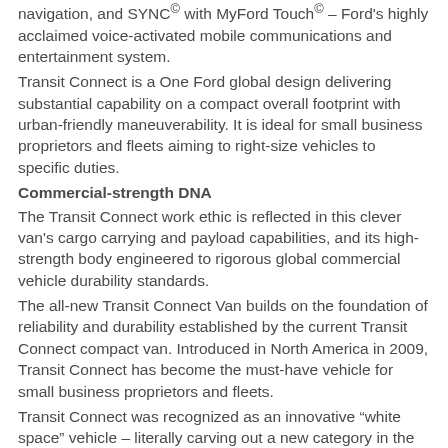navigation, and SYNC® with MyFord Touch® – Ford's highly acclaimed voice-activated mobile communications and entertainment system.
Transit Connect is a One Ford global design delivering substantial capability on a compact overall footprint with urban-friendly maneuverability. It is ideal for small business proprietors and fleets aiming to right-size vehicles to specific duties.
Commercial-strength DNA
The Transit Connect work ethic is reflected in this clever van's cargo carrying and payload capabilities, and its high-strength body engineered to rigorous global commercial vehicle durability standards.
The all-new Transit Connect Van builds on the foundation of reliability and durability established by the current Transit Connect compact van. Introduced in North America in 2009, Transit Connect has become the must-have vehicle for small business proprietors and fleets.
Transit Connect was recognized as an innovative “white space” vehicle – literally carving out a new category in the market – by the automotive industry press corps when it was named North American Truck of the Year in January 2010 at